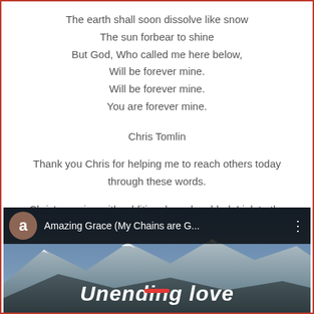The earth shall soon dissolve like snow
The sun forbear to shine
But God, Who called me here below,
Will be forever mine.
Will be forever mine.
You are forever mine.
Chris Tomlin
Thank you Chris for helping me to reach others today through these words.
Chris's version with additional words added. Link to the song
[Figure (screenshot): YouTube video thumbnail showing 'Amazing Grace (My Chains are G...' with avatar 'a', mountains background, and text 'Unending love' visible at bottom]